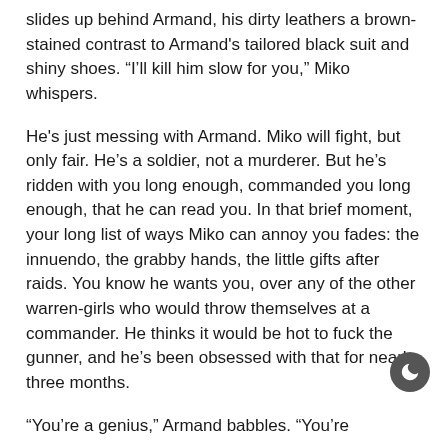slides up behind Armand, his dirty leathers a brown-stained contrast to Armand's tailored black suit and shiny shoes. “I’ll kill him slow for you,” Miko whispers.
He's just messing with Armand. Miko will fight, but only fair. He’s a soldier, not a murderer. But he’s ridden with you long enough, commanded you long enough, that he can read you. In that brief moment, your long list of ways Miko can annoy you fades: the innuendo, the grabby hands, the little gifts after raids. You know he wants you, over any of the other warren-girls who would throw themselves at a commander. He thinks it would be hot to fuck the gunner, and he’s been obsessed with that for nearly three months.
“You’re a genius,” Armand babbles. “You’re